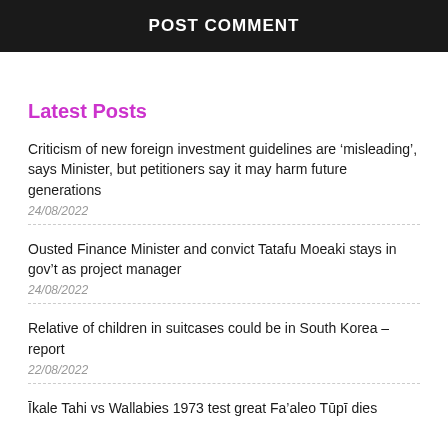POST COMMENT
Latest Posts
Criticism of new foreign investment guidelines are ‘misleading’, says Minister, but petitioners say it may harm future generations
24/08/2022
Ousted Finance Minister and convict Tatafu Moeaki stays in gov’t as project manager
24/08/2022
Relative of children in suitcases could be in South Korea – report
22/08/2022
Ĭkale Tahi vs Wallabies 1973 test great Fa’aleo Tūpī dies